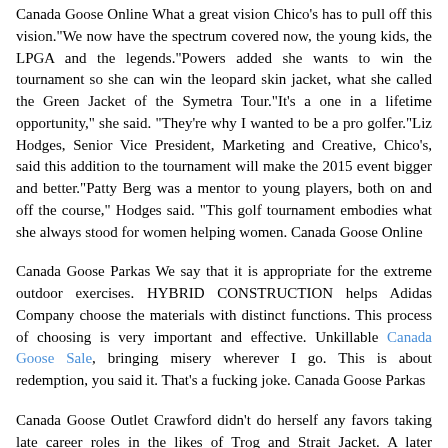Canada Goose Online What a great vision Chico's has to pull off this vision."We now have the spectrum covered now, the young kids, the LPGA and the legends."Powers added she wants to win the tournament so she can win the leopard skin jacket, what she called the Green Jacket of the Symetra Tour."It's a one in a lifetime opportunity," she said. "They're why I wanted to be a pro golfer."Liz Hodges, Senior Vice President, Marketing and Creative, Chico's, said this addition to the tournament will make the 2015 event bigger and better."Patty Berg was a mentor to young players, both on and off the course," Hodges said. "This golf tournament embodies what she always stood for women helping women. Canada Goose Online
Canada Goose Parkas We say that it is appropriate for the extreme outdoor exercises. HYBRID CONSTRUCTION helps Adidas Company choose the materials with distinct functions. This process of choosing is very important and effective. Unkillable Canada Goose Sale, bringing misery wherever I go. This is about redemption, you said it. That's a fucking joke. Canada Goose Parkas
Canada Goose Outlet Crawford didn't do herself any favors taking late career roles in the likes of Trog and Strait Jacket. A later generation knows her only as the cartoon sadist of Mommie Dearest, based on the tell all book by her adopted daughter Christina. Faye Dunaway's screeching performance as Crawford was so unflattering that Dunaway's career never really recovered. Canada Goose Outlet